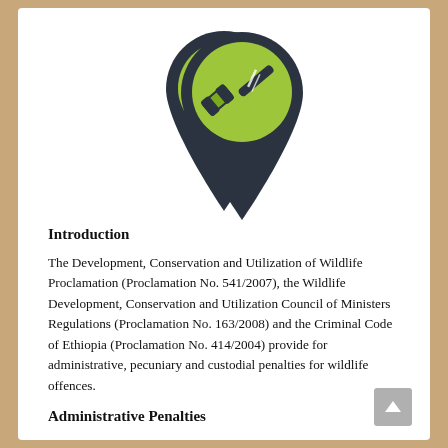[Figure (illustration): A map pin / location marker icon with dark navy background. Inside the circular part of the pin is a green circle containing a gavel (judge's hammer) icon in green and dark navy colors. The pin points downward.]
Introduction
The Development, Conservation and Utilization of Wildlife Proclamation (Proclamation No. 541/2007), the Wildlife Development, Conservation and Utilization Council of Ministers Regulations (Proclamation No. 163/2008) and the Criminal Code of Ethiopia (Proclamation No. 414/2004) provide for administrative, pecuniary and custodial penalties for wildlife offences.
Administrative Penalties